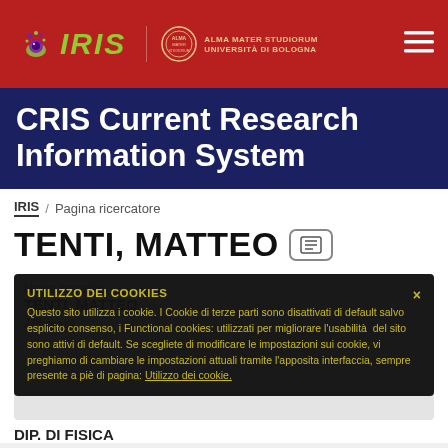IRIS — Alma Mater Studiorum Università di Bologna
CRIS Current Research Information System
IRIS / Pagina ricercatore
TENTI, MATTEO
UTILIZZO DEI COOKIES
Questo sito utilizza i cookie. I Cookie di terze parti sono disattivati di default salvo esplicito consenso, i Functional cookies: utilizzati per migliorare l'usabilità del sito sono attivi di default. Se scegliete di modificare le impostazioni sui cookie, vi preghiamo di cambiare le impostazioni attuali tramite l'apposita interfaccia, sempre presente a piè di pagina: Utilizzo dei cookie.
Nome completo
TENTI, MATTEO
Afferenza
DIP. DI FISICA